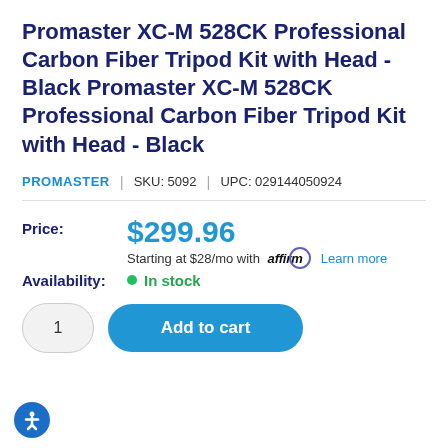Promaster XC-M 528CK Professional Carbon Fiber Tripod Kit with Head - Black Promaster XC-M 528CK Professional Carbon Fiber Tripod Kit with Head - Black
PROMASTER | SKU: 5092 | UPC: 029144050924
Price: $299.96
Starting at $28/mo with affirm. Learn more
Availability: In stock
1
Add to cart